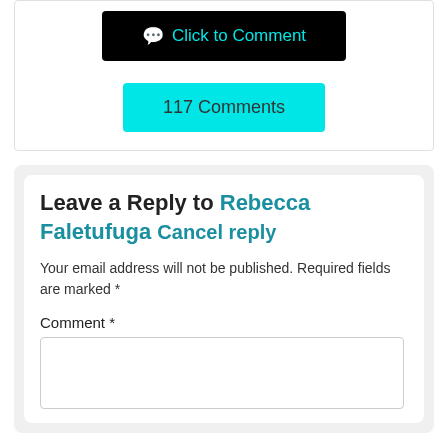Click to Comment
117 Comments
Leave a Reply to Rebecca Faletufuga Cancel reply
Your email address will not be published. Required fields are marked *
Comment *